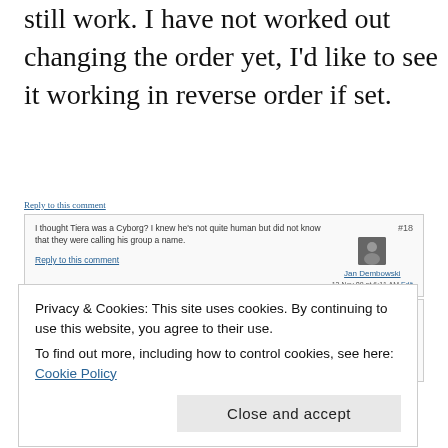still work. I have not worked out changing the order yet, I'd like to see it working in reverse order if set.
Reply to this comment
I thought Tiera was a Cyborg? I knew he's not quite human but did not know that they were calling his group a name.
#18
Jan Dembowski
13 Nov 08 at 6:11 AM Edit
Reply to this comment
Tieria is infact a human-cyborg thing, they are called Innovators as you will learn in season 2. the eye effect is what happens when Tieria connects with Veda, Celestial Beings Quantum Computer Core.
#19
overbeal
27 Dec 08 at 4:06 AM Edit
Privacy & Cookies: This site uses cookies. By continuing to use this website, you agree to their use.
To find out more, including how to control cookies, see here: Cookie Policy
Close and accept
Reply to this comment